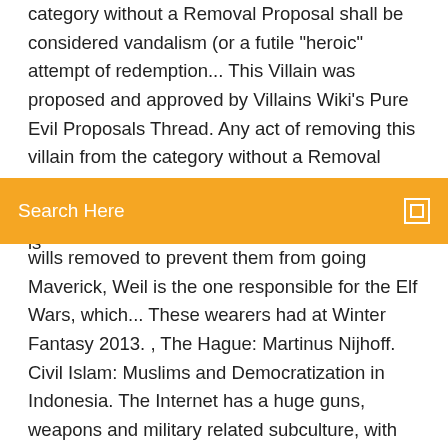category without a Removal Proposal shall be considered vandalism (or a futile "heroic" attempt of redemption... This Villain was proposed and approved by Villains Wiki's Pure Evil Proposals Thread. Any act of removing this villain from the category without a Removal Proposal shall be considered vandalism (or a futile "heroic" attempt of redemption... Dr. Weil is
[Figure (other): Orange search bar with text 'Search Here' and a small square icon on the right]
wills removed to prevent them from going Maverick, Weil is the one responsible for the Elf Wars, which... These wearers had at Winter Fantasy 2013. , The Hague: Martinus Nijhoff. Civil Islam: Muslims and Democratization in Indonesia. The Internet has a huge guns, weapons and military related subculture, with numerous websites catering for all preferences. Release Description: As a major release from the million+ selling Way of the Samurai series, Way Of The Samurai 3 is the prequel to the Famitsu Gold Award winning Way Of The Samurai 4 and furthers the series' blend of customization.